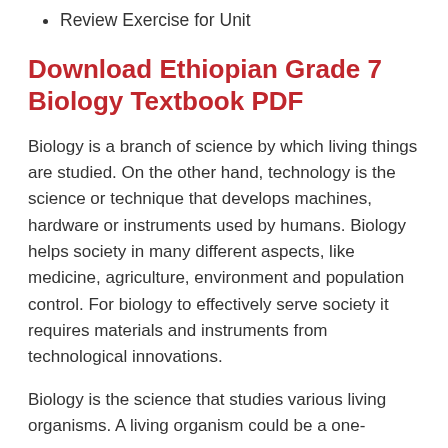Review Exercise for Unit
Download Ethiopian Grade 7 Biology Textbook PDF
Biology is a branch of science by which living things are studied. On the other hand, technology is the science or technique that develops machines, hardware or instruments used by humans. Biology helps society in many different aspects, like medicine, agriculture, environment and population control. For biology to effectively serve society it requires materials and instruments from technological innovations.
Biology is the science that studies various living organisms. A living organism could be a one-